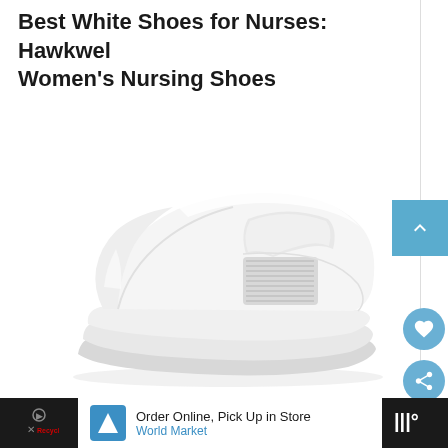Best White Shoes for Nurses: Hawkwel Women's Nursing Shoes
[Figure (photo): White slip-on nursing shoe by Hawkwel, shown from the side on a white background. The shoe has an elastic side panel, a cushioned white sole, and a clean all-white design.]
Order Online, Pick Up in Store
World Market